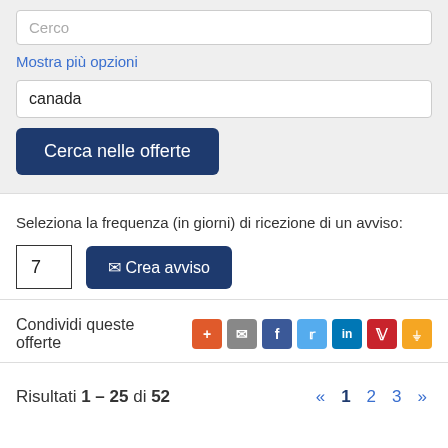Cerco
Mostra più opzioni
canada
Cerca nelle offerte
Seleziona la frequenza (in giorni) di ricezione di un avviso:
7
✉ Crea avviso
Condividi queste offerte
Risultati 1 – 25 di 52
« 1 2 3 »